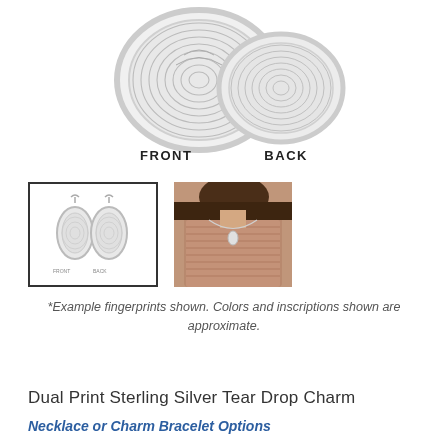[Figure (photo): Two silver teardrop/oval fingerprint charms shown from front and back, with fingerprint ridge patterns engraved. Front charm is larger and centered, back charm is slightly offset to the right.]
FRONT    BACK
[Figure (photo): Thumbnail image with black border showing two silver teardrop fingerprint charms side by side with small text labels below.]
[Figure (photo): Thumbnail image showing a woman wearing a silver necklace with a teardrop charm, wearing a pink/mauve ribbed sweater.]
*Example fingerprints shown. Colors and inscriptions shown are approximate.
Dual Print Sterling Silver Tear Drop Charm
Necklace or Charm Bracelet Options